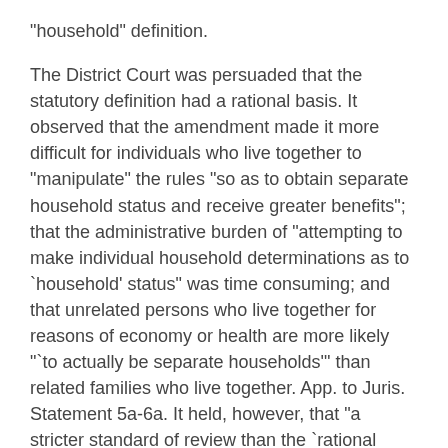"household" definition.
The District Court was persuaded that the statutory definition had a rational basis. It observed that the amendment made it more difficult for individuals who live together to "manipulate" the rules "so as to obtain separate household status and receive greater benefits"; that the administrative burden of "attempting to make individual household determinations as to `household' status" was time consuming; and that unrelated persons who live together for reasons of economy or health are more likely "`to actually be separate households'" than related families who live together. App. to Juris. Statement 5a-6a. It held, however, that "a stricter standard of review than the `rational basis' test" was required. Id., at 7a. Relying primarily on United States Dept. of Agriculture v. Moreno, 413 U.S. 528, 534 (1973), a [477 U.S. 635, 638]  case which it construed as holding that a "congressional desire to harm a politically